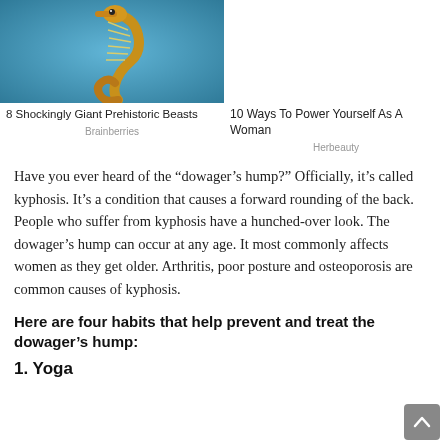[Figure (photo): Underwater photo of a seahorse-like prehistoric creature with feathery fins and a curled tail against a blue background]
8 Shockingly Giant Prehistoric Beasts
Brainberries
10 Ways To Power Yourself As A Woman
Herbeauty
Have you ever heard of the “dowager’s hump?” Officially, it’s called kyphosis. It’s a condition that causes a forward rounding of the back. People who suffer from kyphosis have a hunched-over look. The dowager’s hump can occur at any age. It most commonly affects women as they get older. Arthritis, poor posture and osteoporosis are common causes of kyphosis.
Here are four habits that help prevent and treat the dowager’s hump:
1. Yoga